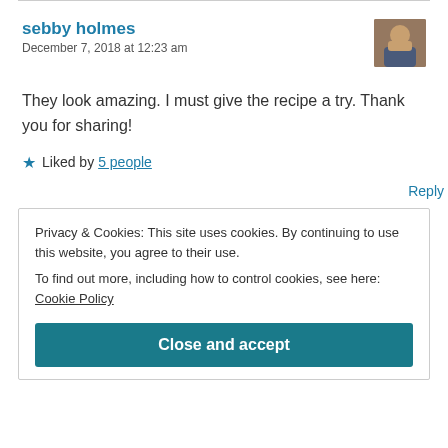sebby holmes
December 7, 2018 at 12:23 am
They look amazing. I must give the recipe a try. Thank you for sharing!
Liked by 5 people
Reply
Privacy & Cookies: This site uses cookies. By continuing to use this website, you agree to their use.
To find out more, including how to control cookies, see here: Cookie Policy
Close and accept